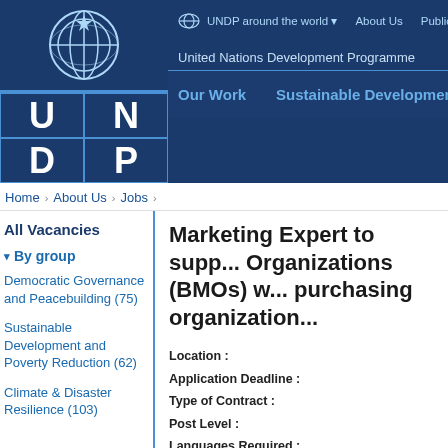[Figure (logo): UNDP logo with UN emblem globe icon and blue header with top navigation]
UNDP around the world   About Us   Publications
United Nations Development Programme
Our Work   Sustainable Development Goa...
Home > About Us > Jobs >
All Vacancies
By group
Democratic Governance and Peacebuilding (75)
Sustainable Development and Poverty Reduction (62)
Climate & Disaster Resilience (103)
Marketing Expert to supp... Organizations (BMOs) w... purchasing organization...
Location :
Application Deadline :
Type of Contract :
Post Level :
Languages Required :
Starting Date :
(date when the selected candidate is expected to...
Duration of Initial Contract :